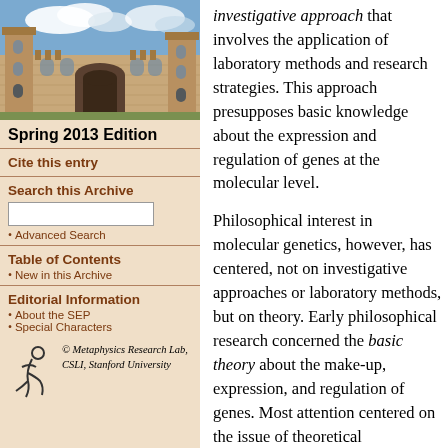[Figure (photo): Photograph of a historic stone university building with archways and towers against a partly cloudy sky]
Spring 2013 Edition
Cite this entry
Search this Archive
Advanced Search
Table of Contents
New in this Archive
Editorial Information
About the SEP
Special Characters
[Figure (logo): Metaphysics Research Lab, CSLI, Stanford University logo with stylized figure]
investigative approach that involves the application of laboratory methods and research strategies. This approach presupposes basic knowledge about the expression and regulation of genes at the molecular level. Philosophical interest in molecular genetics, however, has centered, not on investigative approaches or laboratory methods, but on theory. Early philosophical research concerned the basic theory about the make-up, expression, and regulation of genes. Most attention centered on the issue of theoretical